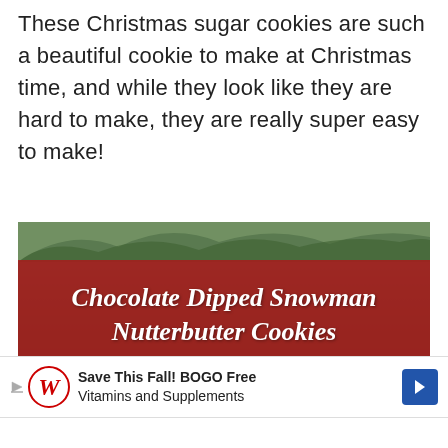These Christmas sugar cookies are such a beautiful cookie to make at Christmas time, and while they look like they are hard to make, they are really super easy to make!
[Figure (photo): Photo of Christmas decorations with pine branches and red berries, overlaid with a dark red banner containing white italic text reading 'Chocolate Dipped Snowman Nutterbutter Cookies']
Save This Fall! BOGO Free Vitamins and Supplements